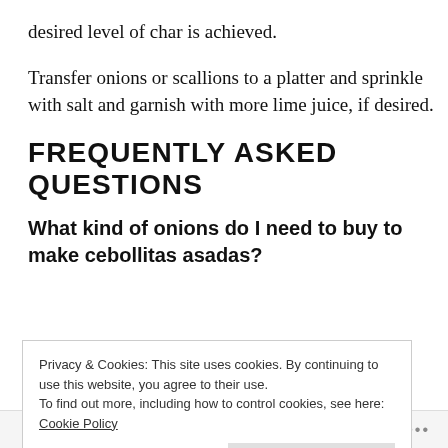desired level of char is achieved.
Transfer onions or scallions to a platter and sprinkle with salt and garnish with more lime juice, if desired.
FREQUENTLY ASKED QUESTIONS
What kind of onions do I need to buy to make cebollitas asadas?
Privacy & Cookies: This site uses cookies. By continuing to use this website, you agree to their use.
To find out more, including how to control cookies, see here: Cookie Policy
Follow ...